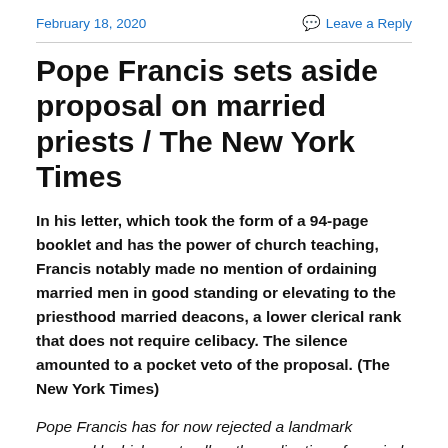February 18, 2020
Leave a Reply
Pope Francis sets aside proposal on married priests / The New York Times
In his letter, which took the form of a 94-page booklet and has the power of church teaching, Francis notably made no mention of ordaining married men in good standing or elevating to the priesthood married deacons, a lower clerical rank that does not require celibacy. The silence amounted to a pocket veto of the proposal. (The New York Times)
Pope Francis has for now rejected a landmark proposal by bishops to allow the ordination of married men in remote